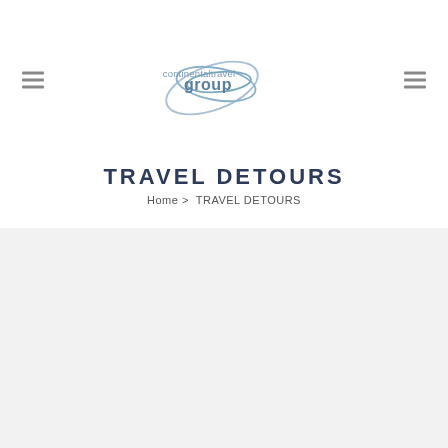[Figure (logo): Continental Travel Group logo with globe/ellipse graphic and text 'continentaltravel group' in blue-grey tones]
TRAVEL DETOURS
Home > TRAVEL DETOURS
[Figure (other): Light grey content area below the header, serving as a background panel for page content]